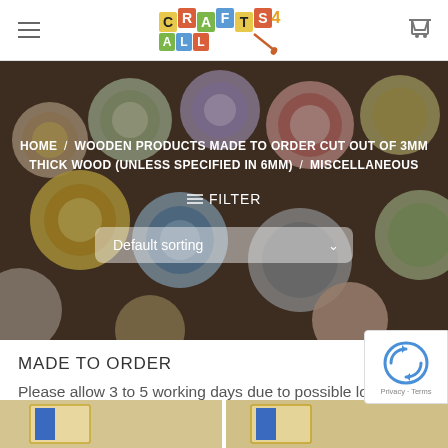[Figure (logo): Crafts4All colorful logo with paint brush]
[Figure (photo): Background photo of various colorful paint pots/containers on a wooden surface, with breadcrumb navigation overlay, filter button, and default sorting dropdown]
MADE TO ORDER
Please allow 3 to 5 working days due to possible load shedding
[Figure (photo): Partial product thumbnail images at bottom of page]
[Figure (other): Google reCAPTCHA badge with Privacy and Terms links]